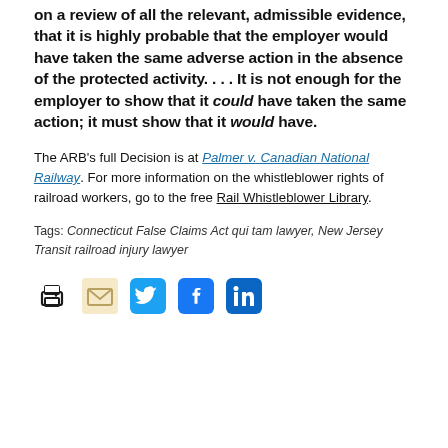on a review of all the relevant, admissible evidence, that it is highly probable that the employer would have taken the same adverse action in the absence of the protected activity. . . . It is not enough for the employer to show that it could have taken the same action; it must show that it would have.
The ARB's full Decision is at Palmer v. Canadian National Railway. For more information on the whistleblower rights of railroad workers, go to the free Rail Whistleblower Library.
Tags: Connecticut False Claims Act qui tam lawyer, New Jersey Transit railroad injury lawyer
[Figure (infographic): Social sharing icons: printer, email, Twitter, Facebook, LinkedIn]